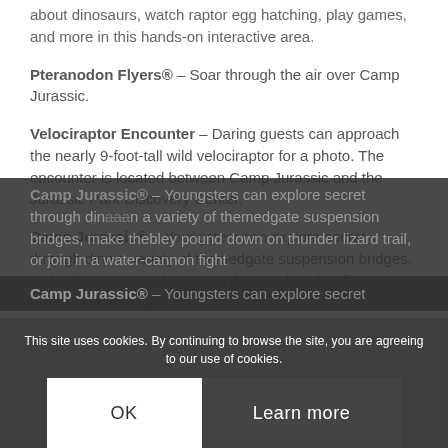about dinosaurs, watch raptor egg hatching, play games, and more in this hands-on interactive area.
Pteranodon Flyers® – Soar through the air over Camp Jurassic.
Velociraptor Encounter – Daring guests can approach the nearly 9-foot-tall wild velociraptor for a photo. The encounter is located between Camp Jurassic and the Jurassic Park Discovery Center.
Camp Jurassic® – Youngsters can explore secret through dinosaur... in a variety of themed... gate suspension bridges, make the... ble...y pound down on thunder lizard trail, or join in a water-cannon fight
This site uses cookies. By continuing to browse the site, you are agreeing to our use of cookies.